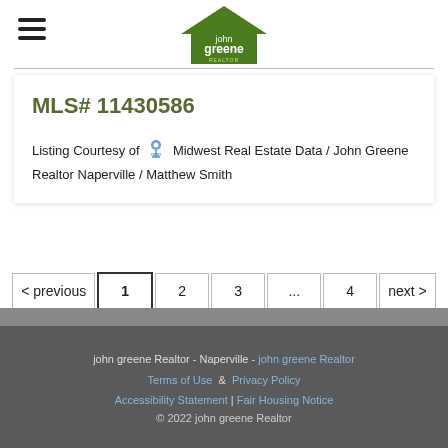john greene Realtor logo and navigation
MLS# 11430586
Listing Courtesy of Midwest Real Estate Data / John Greene Realtor Naperville / Matthew Smith
< previous  1  2  3  ...  4  next >
john greene Realtor - Naperville - john greene Realtor  Terms of Use  &  Privacy Policy  Accessibility Statement | Fair Housing Notice  © 2022 john greene Realtor